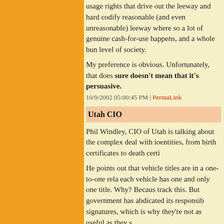usage rights that drive out the leeway and hard codify reasonable (and even unreasonable) leeway where so a lot of genuine cash-for-use happens, and a whole bun level of society.
My preference is obvious. Unfortunately, that does sure doesn't mean that it's persuasive.
10/9/2002 05:00:45 PM | PermaLink
Utah CIO
Phil Windley, CIO of Utah is talking about the complex deal with ioentities, from birth certificates to death certi
He points out that vehicle titles are in a one-to-one rela each vehicle has one and only one title. Why? Becaus track this. But government has abdicated its responsib signatures, which is why they're not as useful as they s
But (Phil says) people want the services that a govern could bring. For example, supose you move to Utah. T have to do, from registering your car to enrolling to vot Utah wants to give you a single site where you say you one tax, and everything gets done. But this is hard to d information apps are not connected. (In Utah, your nar databases.)
Phil just netted it out:
Governments are in the identity business but don't rec
Governments have abdicated their responsibility.
Phil is justified to say they...